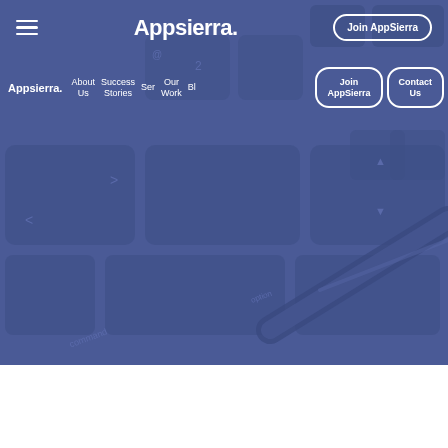[Figure (screenshot): AppSierra website header screenshot showing a navigation bar with hamburger menu, AppSierra logo, Join AppSierra button on a blue keyboard background. Below the top nav is a second nav row with logo, About Us, Success Stories, Services, Our Work, Blog links, and Join AppSierra and Contact Us buttons with white rounded outlines. Background is a blue-tinted keyboard with a pen. Bottom portion is white.]